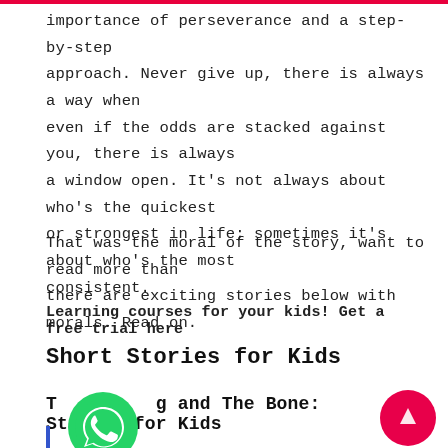importance of perseverance and a step-by-step approach. Never give up, there is always a way when even if the odds are stacked against you, there is always a window open. It's not always about who's the quickest or strongest in life; sometimes it's about who's the most consistent.
That was the moral of the story, want to read more than there are exciting stories below with morals. Read on.
Learning courses for your kids! Get a free trial here
Short Stories for Kids
The Dog and The Bone: Stories for Kids